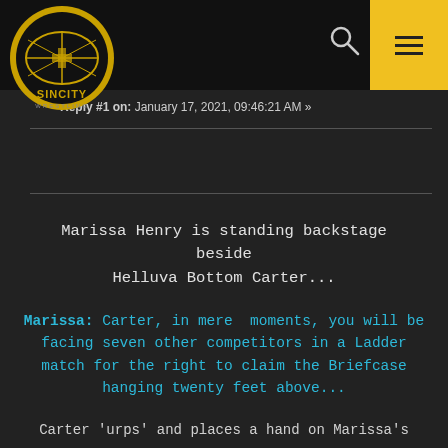[Figure (logo): Sin City Wrestling logo - gold and black circular wrestling ring logo with text SINCITY WRESTLING]
Reply #1 on: January 17, 2021, 09:46:21 AM »
Marissa Henry is standing backstage beside Helluva Bottom Carter...
Marissa: Carter, in mere moments, you will be facing seven other competitors in a Ladder match for the right to claim the Briefcase hanging twenty feet above...
Carter 'urps' and places a hand on Marissa's